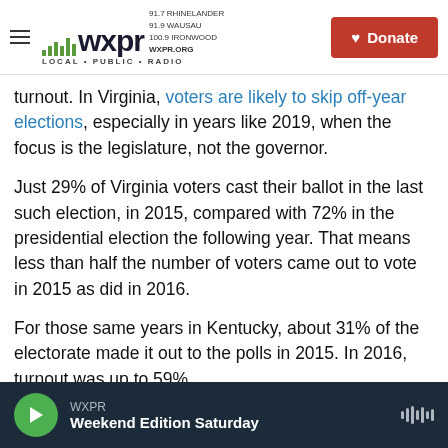WXPR LOCAL PUBLIC RADIO 91.7 RHINELANDER 91.9 WAUSAU 100.9 IRONWOOD WXPR.ORG | Donate
turnout. In Virginia, voters are likely to skip off-year elections, especially in years like 2019, when the focus is the legislature, not the governor.
Just 29% of Virginia voters cast their ballot in the last such election, in 2015, compared with 72% in the presidential election the following year. That means less than half the number of voters came out to vote in 2015 as did in 2016.
For those same years in Kentucky, about 31% of the electorate made it out to the polls in 2015. In 2016, turnout was up to 59%.
WXPR Weekend Edition Saturday